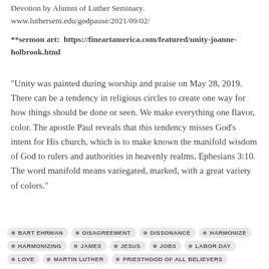Devotion by Alumni of Luther Seminary. www.luthersem.edu/godpause/2021/09/02/
**sermon art:  https://fineartamerica.com/featured/unity-joanne-holbrook.html
“Unity was painted during worship and praise on May 28, 2019. There can be a tendency in religious circles to create one way for how things should be done or seen. We make everything one flavor, color. The apostle Paul reveals that this tendency misses God’s intent for His church, which is to make known the manifold wisdom of God to rulers and authorities in heavenly realms, Ephesians 3:10. The word manifold means variegated, marked, with a great variety of colors.”
BART EHRMAN
DISAGREEMENT
DISSONANCE
HARMONIZE
HARMONIZING
JAMES
JESUS
JOBS
LABOR DAY
LOVE
MARTIN LUTHER
PRIESTHOOD OF ALL BELIEVERS